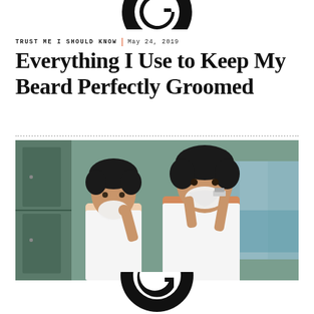[Figure (logo): Partial circular logo at top of page, black, G-shaped symbol]
TRUST ME I SHOULD KNOW | May 24, 2019
Everything I Use to Keep My Beard Perfectly Groomed
[Figure (photo): Two men shaving in a locker room, one older holding a razor with shaving cream on face, one younger also with shaving cream, both wearing white tank tops]
[Figure (logo): Partial circular logo at bottom of page, black, G-shaped symbol cut off]